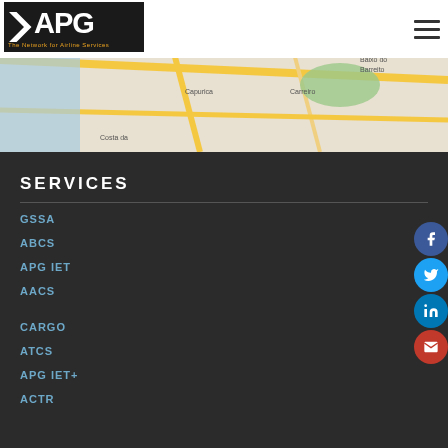[Figure (screenshot): APG - The Network for Airline Services logo in header with hamburger menu icon and a map snippet showing locations like Almada, Capurica, Costa da, Carreiro, Baixo do Barreito]
SERVICES
GSSA
ABCS
APG IET
AACS
CARGO
ATCS
APG IET+
ACTR